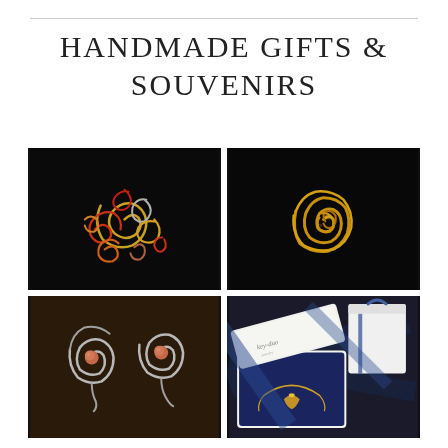HANDMADE GIFTS & SOUVENIRS
[Figure (photo): Four photos of handmade jewelry and souvenirs arranged in a 2x2 grid. Top-left: colorful red, orange, and gold wire spiral brooch on black background. Top-right: golden wire spiral rose brooch on black background. Bottom-left: silver wire spiral earrings with coral/pink bead centers on dark brown background. Bottom-right: gold necklace in navy blue jewelry box with gift bag and ribbon.]